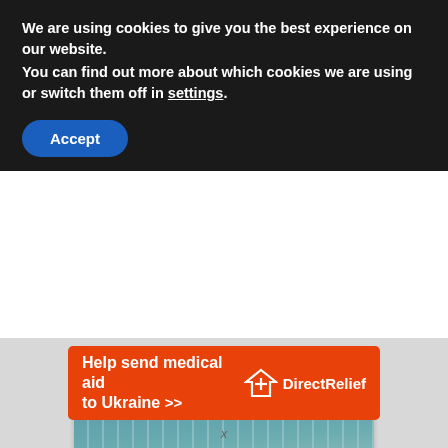We are using cookies to give you the best experience on our website.
You can find out more about which cookies we are using or switch them off in settings.
Accept
[Figure (photo): Shower curtain hanging on a curved rod in a bathroom, clear plastic material]
How to Get Shower Curtain Clean
[Figure (photo): Partially visible image below shower curtain card, appears to show small objects on dark background]
[Figure (infographic): Orange advertisement banner: Help send medical aid to Ukraine >> with Direct Relief logo]